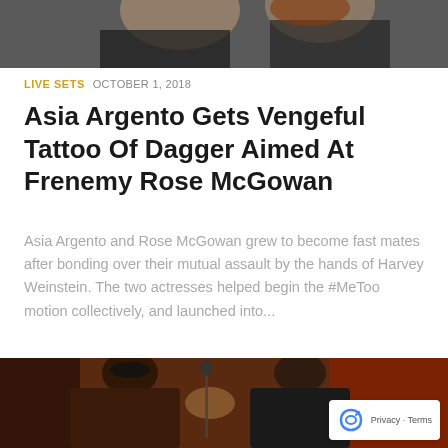[Figure (photo): Top portion of a photo showing two women, one in a black jacket, cropped at the top of the page]
LIVE SETS  OCTOBER 1, 2018
Asia Argento Gets Vengeful Tattoo Of Dagger Aimed At Frenemy Rose McGowan
Asia Argento and Rose McGowan grew to become fast mates after bonding over their mutual assault by the hands of Harvey Weinstein. The two actresses helped begin the #MeToo motion collectively, and launched into...
[Figure (photo): Two men in leather jackets shaking hands on a stage with microphone and red background lighting]